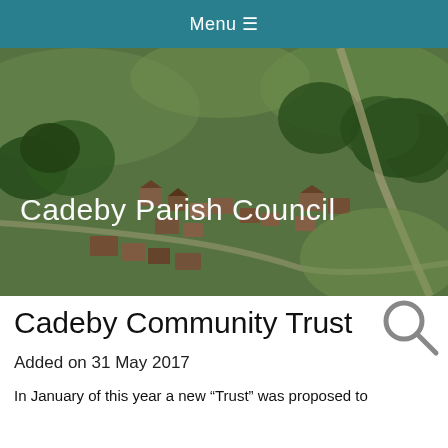Menu ≡
[Figure (photo): Aerial photograph of Cadeby village showing houses, roads, and green fields, with 'Cadeby Parish Council' text overlay]
Cadeby Community Trust
Added on 31 May 2017
In January of this year a new "Trust" was proposed to